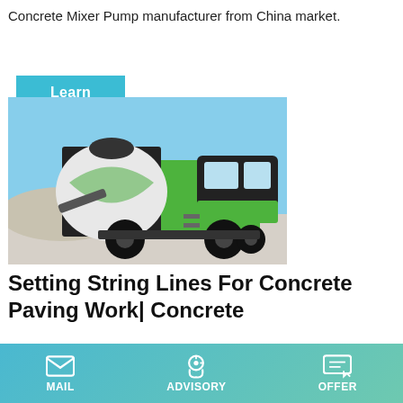Concrete Mixer Pump manufacturer from China market.
Learn More
[Figure (photo): Green concrete mixer truck with rotating drum, photographed outdoors on a bright day with blue sky background.]
Setting String Lines For Concrete Paving Work| Concrete
Dec 28, 2005 · Constructing pavement that provides a smooth ride involves many factors, but the quest begins with setting string lines to guide both trimmers and paving equipment.
MAIL  ADVISORY  OFFER